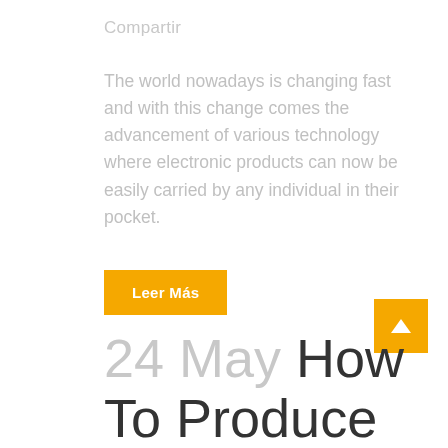Compartir
The world nowadays is changing fast and with this change comes the advancement of various technology where electronic products can now be easily carried by any individual in their pocket.
Leer Más
[Figure (other): Orange square button with white upward arrow icon (back to top button)]
24 May How To Produce